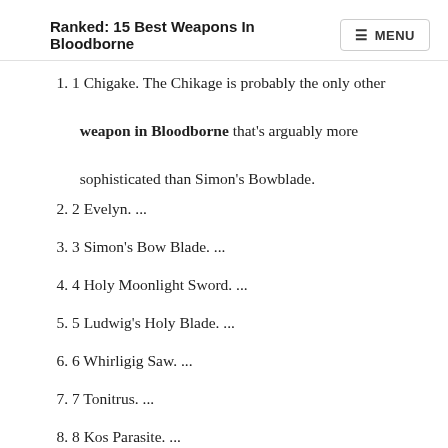Ranked: 15 Best Weapons In Bloodborne
1 Chigake. The Chikage is probably the only other weapon in Bloodborne that's arguably more sophisticated than Simon's Bowblade.
2 Evelyn. ...
3 Simon's Bow Blade. ...
4 Holy Moonlight Sword. ...
5 Ludwig's Holy Blade. ...
6 Whirligig Saw. ...
7 Tonitrus. ...
8 Kos Parasite. ...